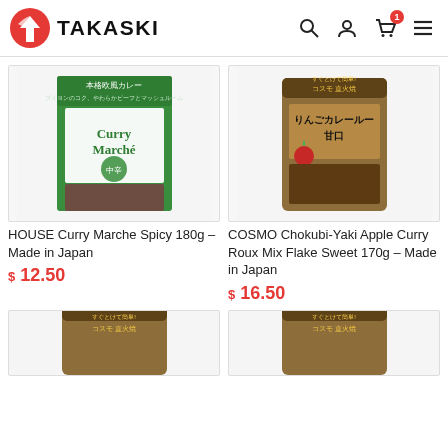TAKASKI
[Figure (photo): HOUSE Curry Marche Spicy 180g product box with green and white packaging showing curry with meat and mushrooms]
HOUSE Curry Marche Spicy 180g – Made in Japan
$ 12.50
[Figure (photo): COSMO Chokubi-Yaki Apple Curry Roux Mix Flake Sweet 170g gold foil bag with apple image and curry powder]
COSMO Chokubi-Yaki Apple Curry Roux Mix Flake Sweet 170g – Made in Japan
$ 16.50
[Figure (photo): Partial view of a gold foil curry product bag, bottom of page]
[Figure (photo): Partial view of another gold foil curry product bag, bottom of page]